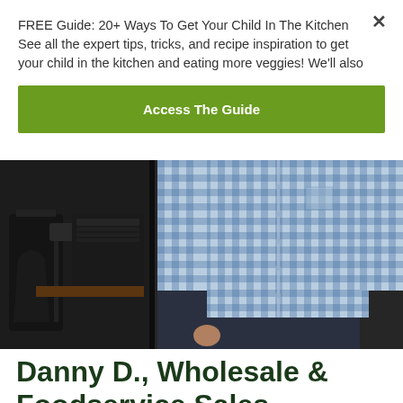FREE Guide: 20+ Ways To Get Your Child In The Kitchen See all the expert tips, tricks, and recipe inspiration to get your child in the kitchen and eating more veggies! We'll also
Access The Guide
[Figure (photo): A person wearing a blue gingham/checkered long-sleeve shirt standing against a dark background, with kitchen equipment visible on the left side.]
Danny D., Wholesale & Foodservice Sales